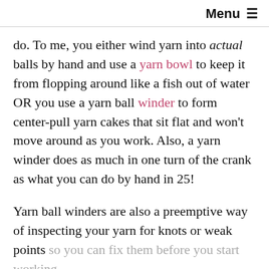Menu ≡
do. To me, you either wind yarn into actual balls by hand and use a yarn bowl to keep it from flopping around like a fish out of water OR you use a yarn ball winder to form center-pull yarn cakes that sit flat and won't move around as you work. Also, a yarn winder does as much in one turn of the crank as what you can do by hand in 25!
Yarn ball winders are also a preemptive way of inspecting your yarn for knots or weak points so you can fix them before you start working (on the right, that's a fan of favorites for long-term use)